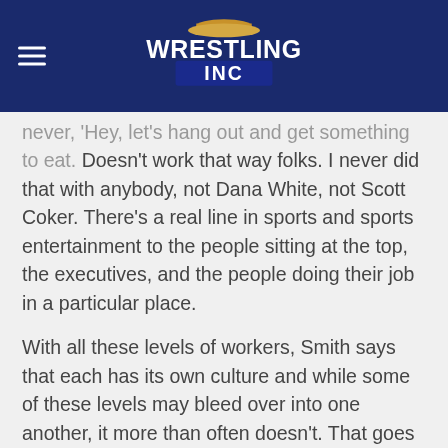Wrestling Inc
never, 'Hey, let's hang out and get something to eat.' Doesn't work that way folks. I never did that with anybody, not Dana White, not Scott Coker. There's a real line in sports and sports entertainment to the people sitting at the top, the executives, and the people doing their job in a particular place.
With all these levels of workers, Smith says that each has its own culture and while some of these levels may bleed over into one another, it more than often doesn't. That goes with the executive level at WWE. Smith makes mention of John Laurinitis who is referenced in the Wall Street Journal article with McMahon.